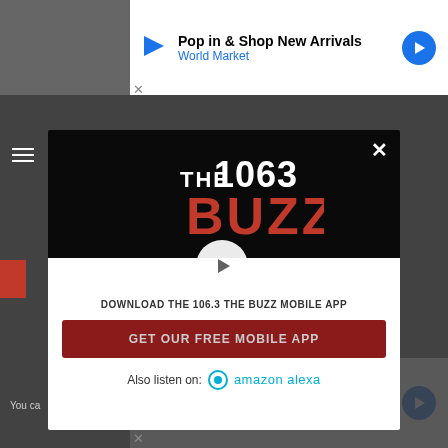[Figure (screenshot): Top advertisement banner: Pop in & Shop New Arrivals, World Market]
[Figure (screenshot): Modal popup for 106.3 The Buzz radio station app download, showing logo, download CTA button, play button overlay, and Amazon Alexa listen option]
DOWNLOAD THE 106.3 THE BUZZ MOBILE APP
GET OUR FREE MOBILE APP
Also listen on: amazon alexa
The Heaviest Album to Ever Hit #1
You ca
[Figure (screenshot): Bottom advertisement banner: Perfect activity for everyone, Topgolf]